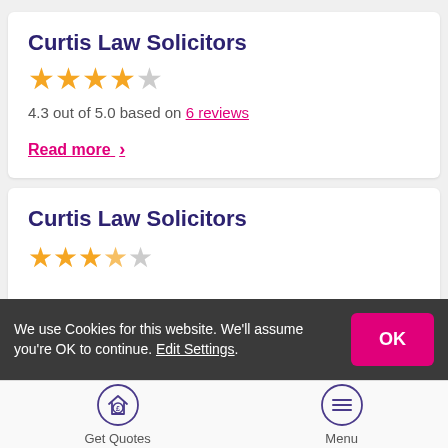Curtis Law Solicitors
[Figure (other): Star rating: 4.3 out of 5 stars (4 filled, 1 partial/empty)]
4.3 out of 5.0 based on 6 reviews
Read more >
Curtis Law Solicitors
[Figure (other): Star rating partial view, partially obscured by cookie bar]
We use Cookies for this website. We'll assume you're OK to continue. Edit Settings.
[Figure (infographic): Bottom navigation bar with Get Quotes (house with pound sign icon) and Menu (hamburger icon) buttons]